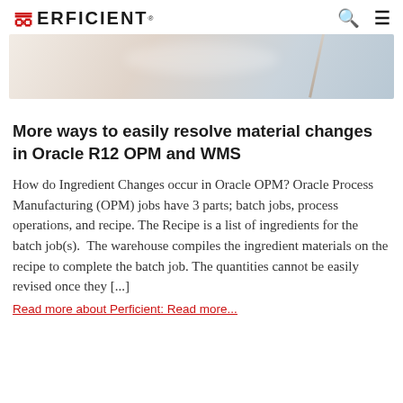PERFICIENT
[Figure (photo): Partial hero image showing blurred background, likely a laboratory or manufacturing setting]
More ways to easily resolve material changes in Oracle R12 OPM and WMS
How do Ingredient Changes occur in Oracle OPM? Oracle Process Manufacturing (OPM) jobs have 3 parts; batch jobs, process operations, and recipe. The Recipe is a list of ingredients for the batch job(s). The warehouse compiles the ingredient materials on the recipe to complete the batch job. The quantities cannot be easily revised once they [...]
Read more about Perficient: Read more...